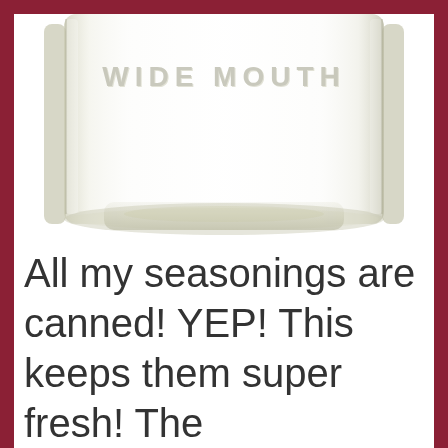[Figure (photo): A wide mouth mason jar (Ball brand) photographed from above showing the embossed text 'WIDE MOUTH' on the glass. The jar is empty and transparent, photographed against a white background.]
All my seasonings are canned! YEP! This keeps them super fresh! The